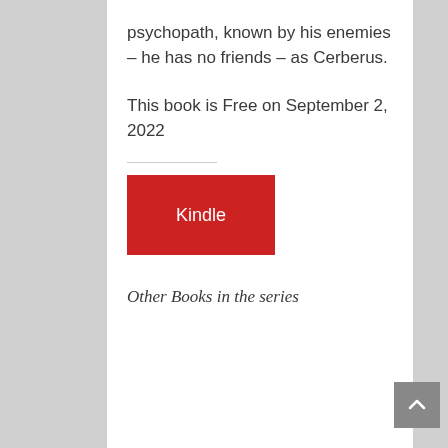psychopath, known by his enemies – he has no friends – as Cerberus.
This book is Free on September 2, 2022
[Figure (other): Red Kindle button]
Other Books in the series